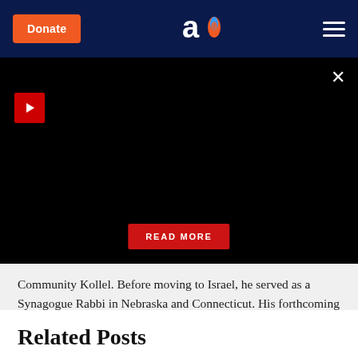Donate | Aish logo | Navigation menu
[Figure (screenshot): Black video player area with red play button, close (X) button, and a red READ MORE button overlay]
Community Kollel. Before moving to Israel, he served as a Synagogue Rabbi in Nebraska and Connecticut. His forthcoming book is Return Again: The Argument for Aliyah.
Related Posts